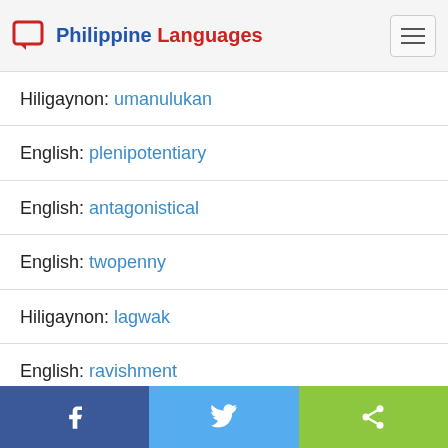Philippine Languages
Hiligaynon: umanulukan
English: plenipotentiary
English: antagonistical
English: twopenny
Hiligaynon: lagwak
English: ravishment
English: muddle
Share buttons: Facebook, Twitter, Share